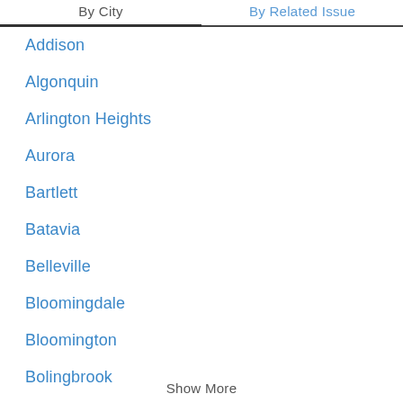By City | By Related Issue
Addison
Algonquin
Arlington Heights
Aurora
Bartlett
Batavia
Belleville
Bloomingdale
Bloomington
Bolingbrook
Show More